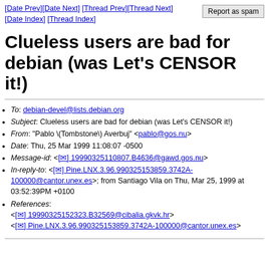[Date Prev][Date Next] [Thread Prev][Thread Next] [Date Index] [Thread Index]  Report as spam
Clueless users are bad for debian (was Let's CENSOR it!)
To: debian-devel@lists.debian.org
Subject: Clueless users are bad for debian (was Let's CENSOR it!)
From: "Pablo \(Tombstone\) Averbuj" <pablo@gos.nu>
Date: Thu, 25 Mar 1999 11:08:07 -0500
Message-id: <[✉] 19990325110807.B4636@gawd.gos.nu>
In-reply-to: <[✉] Pine.LNX.3.96.990325153859.3742A-100000@cantor.unex.es>; from Santiago Vila on Thu, Mar 25, 1999 at 03:52:39PM +0100
References: <[✉] 19990325152323.B32569@cibalia.gkvk.hr> <[✉] Pine.LNX.3.96.990325153859.3742A-100000@cantor.unex.es>